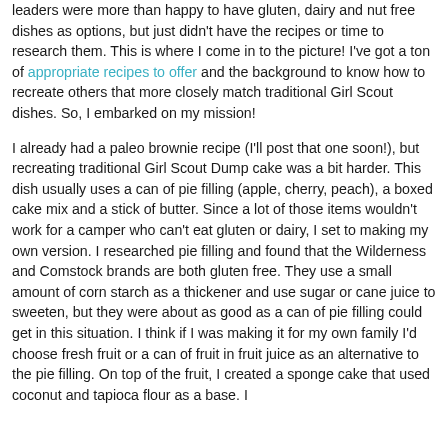leaders were more than happy to have gluten, dairy and nut free dishes as options, but just didn't have the recipes or time to research them. This is where I come in to the picture! I've got a ton of appropriate recipes to offer and the background to know how to recreate others that more closely match traditional Girl Scout dishes. So, I embarked on my mission!
I already had a paleo brownie recipe (I'll post that one soon!), but recreating traditional Girl Scout Dump cake was a bit harder. This dish usually uses a can of pie filling (apple, cherry, peach), a boxed cake mix and a stick of butter. Since a lot of those items wouldn't work for a camper who can't eat gluten or dairy, I set to making my own version. I researched pie filling and found that the Wilderness and Comstock brands are both gluten free. They use a small amount of corn starch as a thickener and use sugar or cane juice to sweeten, but they were about as good as a can of pie filling could get in this situation. I think if I was making it for my own family I'd choose fresh fruit or a can of fruit in fruit juice as an alternative to the pie filling. On top of the fruit, I created a sponge cake that used coconut and tapioca flour as a base. I